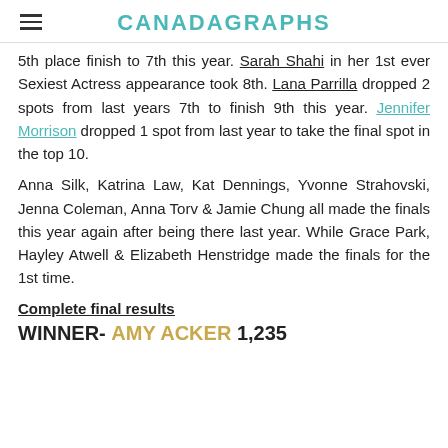CANADAGRAPHS
5th place finish to 7th this year. Sarah Shahi in her 1st ever Sexiest Actress appearance took 8th. Lana Parrilla dropped 2 spots from last years 7th to finish 9th this year. Jennifer Morrison dropped 1 spot from last year to take the final spot in the top 10.
Anna Silk, Katrina Law, Kat Dennings, Yvonne Strahovski, Jenna Coleman, Anna Torv & Jamie Chung all made the finals this year again after being there last year. While Grace Park, Hayley Atwell & Elizabeth Henstridge made the finals for the 1st time.
Complete final results
WINNER- AMY ACKER 1,235